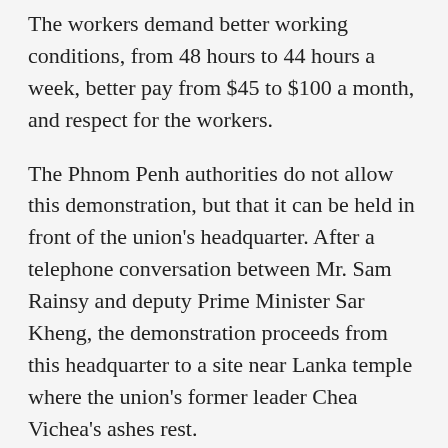The workers demand better working conditions, from 48 hours to 44 hours a week, better pay from $45 to $100 a month, and respect for the workers.
The Phnom Penh authorities do not allow this demonstration, but that it can be held in front of the union's headquarter. After a telephone conversation between Mr. Sam Rainsy and deputy Prime Minister Sar Kheng, the demonstration proceeds from this headquarter to a site near Lanka temple where the union's former leader Chea Vichea's ashes rest.
Mr. Chea Mony, his younger brother, plans to put a wreath on his older brother's grave, then continues to the Independence Monument and the National Assembly building. Mr. Chea Vichea was murdered in 2003.